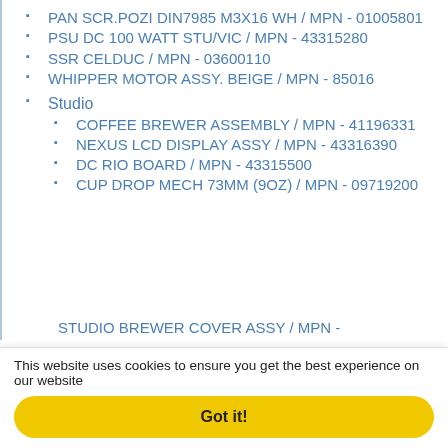PAN SCR.POZI DIN7985 M3X16 WH / MPN - 01005801
PSU DC 100 WATT STU/VIC / MPN - 43315280
SSR CELDUC / MPN - 03600110
WHIPPER MOTOR ASSY. BEIGE / MPN - 85016
Studio
COFFEE BREWER ASSEMBLY / MPN - 41196331
NEXUS LCD DISPLAY ASSY / MPN - 43316390
DC RIO BOARD / MPN - 43315500
CUP DROP MECH 73MM (9OZ) / MPN - 09719200
STUDIO BREWER COVER ASSY / MPN - (partially visible)
This website uses cookies to ensure you get the best experience on our website
Got it!